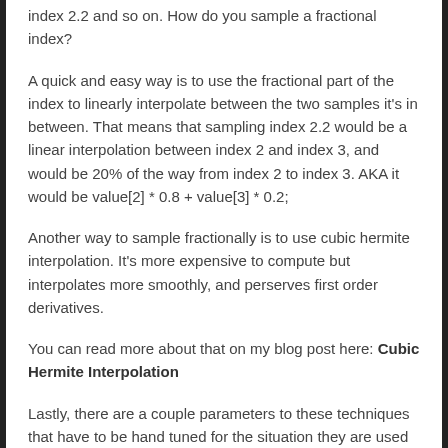index 2.2 and so on. How do you sample a fractional index?
A quick and easy way is to use the fractional part of the index to linearly interpolate between the two samples it's in between. That means that sampling index 2.2 would be a linear interpolation between index 2 and index 3, and would be 20% of the way from index 2 to index 3. AKA it would be value[2] * 0.8 + value[3] * 0.2;
Another way to sample fractionally is to use cubic hermite interpolation. It's more expensive to compute but interpolates more smoothly, and perserves first order derivatives.
You can read more about that on my blog post here: Cubic Hermite Interpolation
Lastly, there are a couple parameters to these techniques that have to be hand tuned for the situation they are used in:
Grain Size – Some usage cases want larger grain sizes, while others want smaller grain sizes. You'll have to play with it and see what's best for your usage case. Again, I've heard that typical grain sizes can range between 10 and